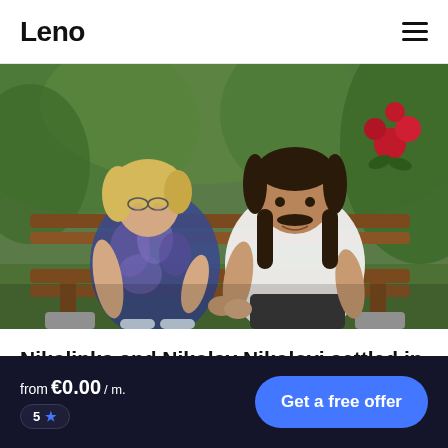Leno
[Figure (photo): An older couple, a woman with blonde hair wearing a paisley patterned top and a man with dark hair and mustache wearing a white t-shirt, sitting together on a wooden bench holding hands in a garden setting with green foliage and red roses in the background.]
Nikolinka and Nikolay Nikolovi settled in the
from €0.00 / m.
5 ★
Get a free offer